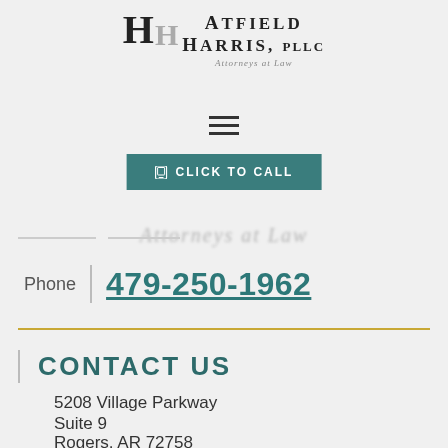[Figure (logo): Hatfield Harris, PLLC Attorneys at Law logo with stylized H letterform]
[Figure (other): Hamburger menu icon (three horizontal lines)]
[Figure (other): Click to call button in teal/green color]
Attorneys at Law
Phone | 479-250-1962
CONTACT US
5208 Village Parkway
Suite 9
Rogers, AR 72758
ROGERS OFFICE